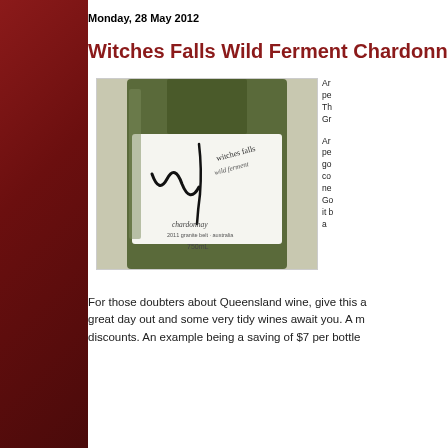Monday, 28 May 2012
Witches Falls Wild Ferment Chardonn...
[Figure (photo): Close-up photograph of a Witches Falls Wild Ferment Chardonnay wine bottle label showing 'witches falls wild ferment chardonnay 2011 granite belt australia 750mL']
Ar pe Th Gr
Ar pe go co ne Go it b a
For those doubters about Queensland wine, give this a great day out and some very tidy wines await you. A m discounts. An example being a saving of $7 per bottle